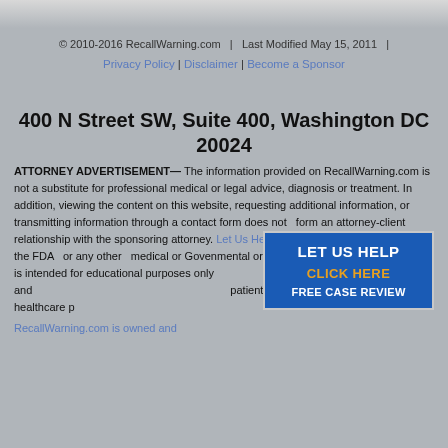© 2010-2016 RecallWarning.com  |  Last Modified May 15, 2011  |
Privacy Policy | Disclaimer | Become a Sponsor
400 N Street SW, Suite 400, Washington DC 20024
ATTORNEY ADVERTISEMENT— The information provided on RecallWarning.com is not a substitute for professional medical or legal advice, diagnosis or treatment. In addition, viewing the content on this website, requesting additional information, or transmitting information through a contact form does not  form an attorney-client relationship with the sponsoring attorney. This website is independent of the FDA  or any other  medical or Govenmental organization.  Information on this site is intended for educational purposes only and patient/site visitor and his or her healthcare pr
RecallWarning.com is owned and
[Figure (infographic): Blue CTA box with text LET US HELP, CLICK HERE in orange, FREE CASE REVIEW in white]